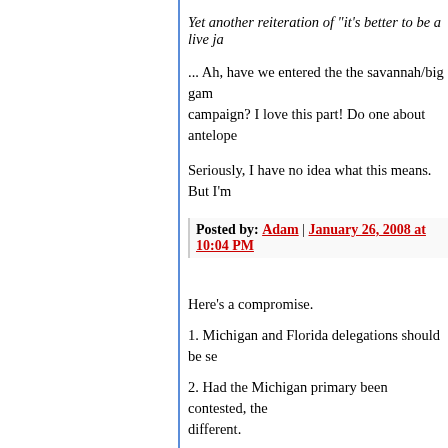Yet another reiteration of "it's better to be a live ja...
... Ah, have we entered the the savannah/big gam... campaign? I love this part! Do one about antelope...
Seriously, I have no idea what this means. But I'm...
Posted by: Adam | January 26, 2008 at 10:04 PM
Here's a compromise.
1. Michigan and Florida delegations should be se...
2. Had the Michigan primary been contested, the... different.
3. The Florida primary is so soon that candidates... doubt a lot of potential voters haven't been paying... upcoming election will also likely not represent the...
4. So both elections should be redone, far enough... campaigns can reasonably cope with the change.
5. The expense of the do-over needs to be divide... and the DNC, both of whom seem to have been ja...